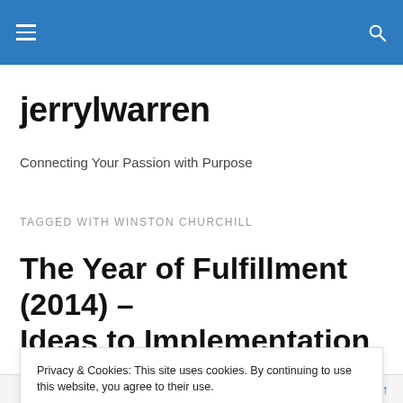jerrylwarren — navigation bar with hamburger menu and search icon
jerrylwarren
Connecting Your Passion with Purpose
TAGGED WITH WINSTON CHURCHILL
The Year of Fulfillment (2014) – Ideas to Implementation to
Privacy & Cookies: This site uses cookies. By continuing to use this website, you agree to their use.
To find out more, including how to control cookies, see here: Cookie Policy
Close and accept